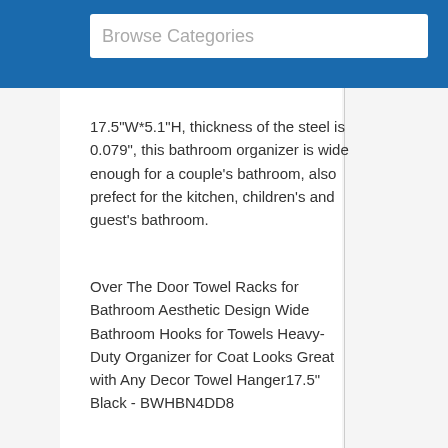Browse Categories
17.5"W*5.1"H, thickness of the steel is 0.079", this bathroom organizer is wide enough for a couple's bathroom, also prefect for the kitchen, children's and guest's bathroom.
Over The Door Towel Racks for Bathroom Aesthetic Design Wide Bathroom Hooks for Towels Heavy-Duty Organizer for Coat Looks Great with Any Decor Towel Hanger17.5" Black - BWHBN4DD8